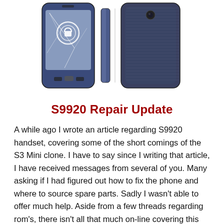[Figure (photo): Three views of an S9920 smartphone (S3 Mini clone): front view showing cracked screen with lock icon, side profile view, and back view showing the rear panel.]
S9920 Repair Update
A while ago I wrote an article regarding S9920 handset, covering some of the short comings of the S3 Mini clone. I have to say since I writing that article, I have received messages from several of you. Many asking if I had figured out how to fix the phone and where to source spare parts. Sadly I wasn't able to offer much help. Aside from a few threads regarding rom's, there isn't all that much on-line covering this device.
After writing the article, not much has happened. The